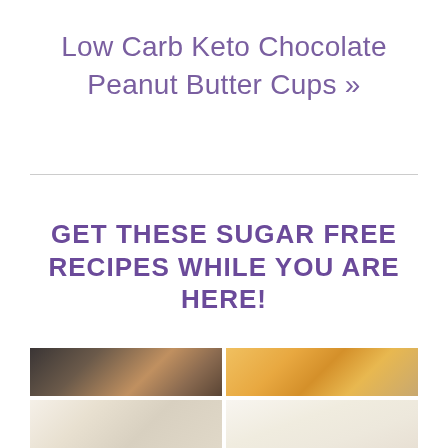Low Carb Keto Chocolate Peanut Butter Cups »
GET THESE SUGAR FREE RECIPES WHILE YOU ARE HERE!
[Figure (photo): Grid of four food photos: top-left shows a dessert on a dark plate with a fork, top-right shows keto peanut butter roll slices and toast, bottom-left shows white coconut or cream balls, bottom-right shows a cupcake with white frosting.]